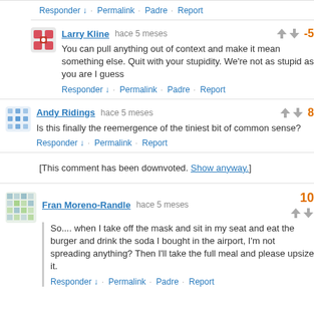Responder ↓ · Permalink · Padre · Report
Larry Kline hace 5 meses -5
You can pull anything out of context and make it mean something else. Quit with your stupidity. We're not as stupid as you are I guess
Responder ↓ · Permalink · Padre · Report
Andy Ridings hace 5 meses 8
Is this finally the reemergence of the tiniest bit of common sense?
Responder ↓ · Permalink · Report
[This comment has been downvoted. Show anyway.]
Fran Moreno-Randle hace 5 meses 10
So.... when I take off the mask and sit in my seat and eat the burger and drink the soda I bought in the airport, I'm not spreading anything? Then I'll take the full meal and please upsize it.
Responder ↓ · Permalink · Padre · Report